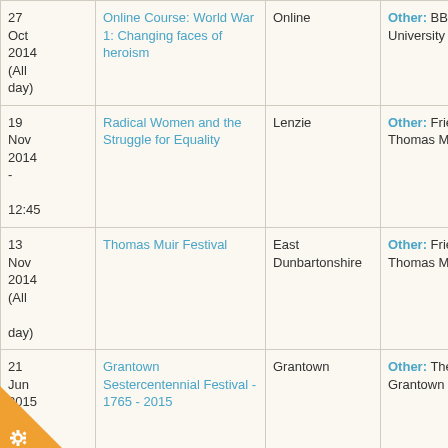| Date | Event | Location | Organiser |
| --- | --- | --- | --- |
| 27 Oct 2014 (All day) | Online Course: World War 1: Changing faces of heroism | Online | Other: BBC & University of Leeds |
| 19 Nov 2014 - 12:45 | Radical Women and the Struggle for Equality | Lenzie | Other: Friends of Thomas Muir |
| 13 Nov 2014 (All day) | Thomas Muir Festival | East Dunbartonshire | Other: Friends of Thomas Muir |
| 21 Jun 2015 (All day) | Grantown Sestercentennial Festival - 1765 - 2015 | Grantown | Other: The Grantown Society |
|  |  |  |  |
[Figure (illustration): Orange triangular badge with a gear/cog icon in the bottom left corner of the page]